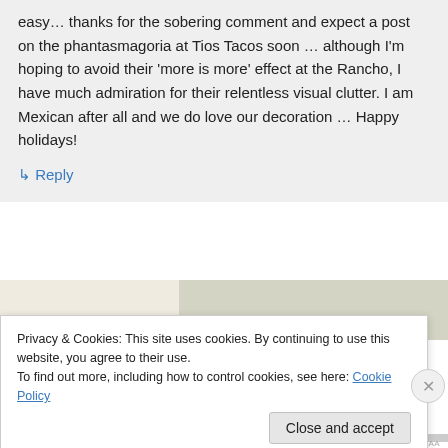easy… thanks for the sobering comment and expect a post on the phantasmagoria at Tios Tacos soon … although I'm hoping to avoid their 'more is more' effect at the Rancho, I have much admiration for their relentless visual clutter. I am Mexican after all and we do love our decoration … Happy holidays!
↳ Reply
[Figure (photo): Partial view of a photograph strip showing food or decorative items]
Privacy & Cookies: This site uses cookies. By continuing to use this website, you agree to their use.
To find out more, including how to control cookies, see here: Cookie Policy
Close and accept